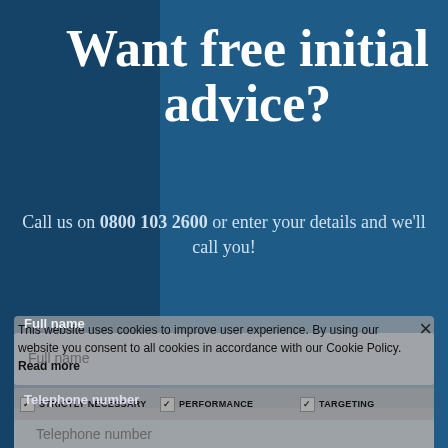Want free initial advice?
Call us on 0800 103 2600 or enter your details and we'll call you!
This website uses cookies to improve user experience. By using our website you consent to all cookies in accordance with our Cookie Policy.
Read more
Full name
STRICTLY NECESSARY   PERFORMANCE   TARGETING
Telephone number
UNCLASSIFIED
SHOW DETAILS
Select a department
DECLINE ALL